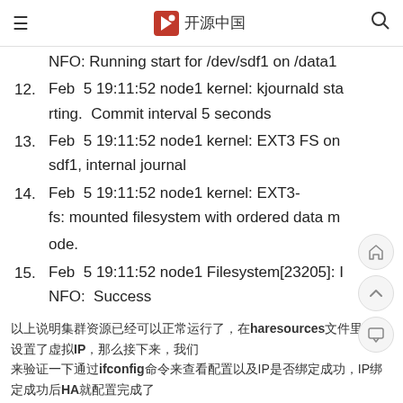≡  [logo] 开源中国  🔍
NFO: Running start for /dev/sdf1 on /data1
12. Feb  5 19:11:52 node1 kernel: kjournald starting.  Commit interval 5 seconds
13. Feb  5 19:11:52 node1 kernel: EXT3 FS on sdf1, internal journal
14. Feb  5 19:11:52 node1 kernel: EXT3-fs: mounted filesystem with ordered data mode.
15. Feb  5 19:11:52 node1 Filesystem[23205]: INFO:  Success
以上说明集群资源已经可以正常运行了，在haresources文件里我们设置了虚拟IP，那么接下来，我们来验证一下通过ifconfig命令来查看配置以及IP是否绑定成功，IP绑定成功后HA就配置完成了